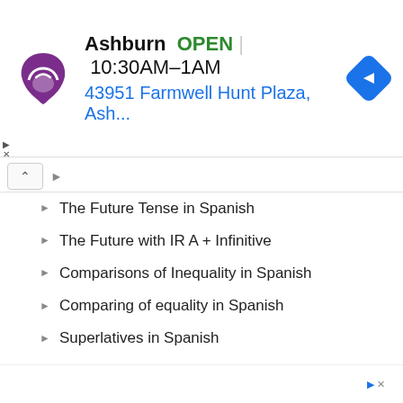[Figure (screenshot): Taco Bell advertisement banner showing Ashburn location, OPEN 10:30AM–1AM, address 43951 Farmwell Hunt Plaza, Ash..., with logo and navigation arrow icon]
The Future Tense in Spanish
The Future with IR A + Infinitive
Comparisons of Inequality in Spanish
Comparing of equality in Spanish
Superlatives in Spanish
Types of Adverbs in Spanish
Spanish Lessons
Listening Comprehension Activities
PDF worksheets in Spanish